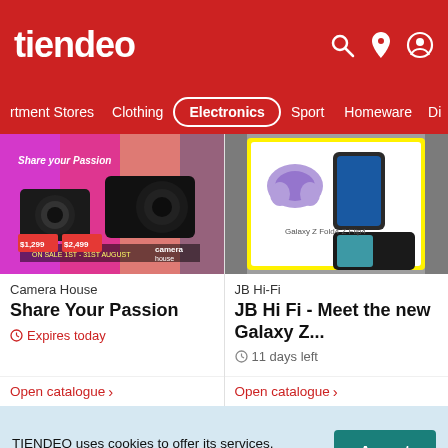tiendeo
rtment Stores  Clothing  Electronics  Sport  Homeware  Di
[Figure (photo): Camera House catalogue cover showing cameras on colorful background with text 'Share Your Passion']
Camera House
Share Your Passion
Expires today
Open catalogue >
[Figure (photo): JB Hi-Fi catalogue cover showing Samsung Galaxy Z Fold4 and Flip4 devices on white/yellow background]
JB Hi-Fi
JB Hi Fi - Meet the new Galaxy Z...
11 days left
Open catalogue >
TIENDEO uses cookies to offer its services, personalize ads and analyze traffic. You can adjust your privacy controls whenever you want in the settings.